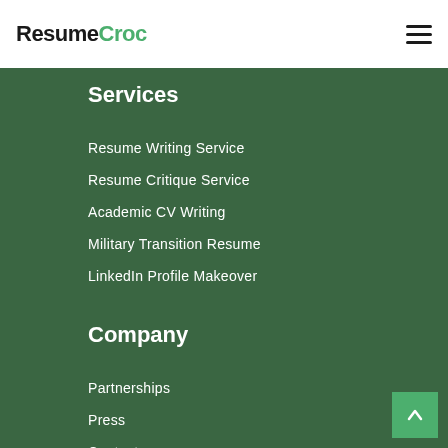ResumeCroc
Services
Resume Writing Service
Resume Critique Service
Academic CV Writing
Military Transition Resume
LinkedIn Profile Makeover
Company
Partnerships
Press
Contact
Our writers
About